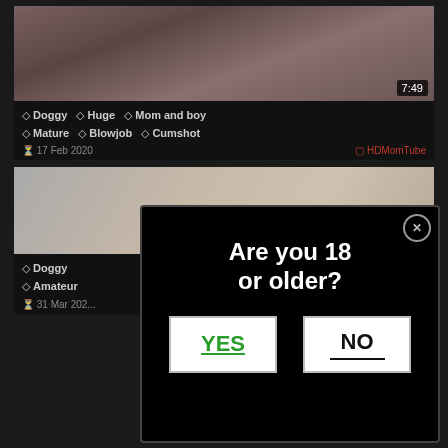[Figure (screenshot): Video thumbnail with duration badge 7:49]
◇ Doggy  ◇ Huge  ◇ Mom and boy  ◇ Mature  ◇ Blowjob  ◇ Cumshot
17 Feb 2020   HDMomTube
[Figure (screenshot): Second video thumbnail]
◇ Doggy  ◇ Amateur
31 Mar 202...
[Figure (screenshot): Age verification modal dialog with question 'Are you 18 or older?' and YES / NO buttons]